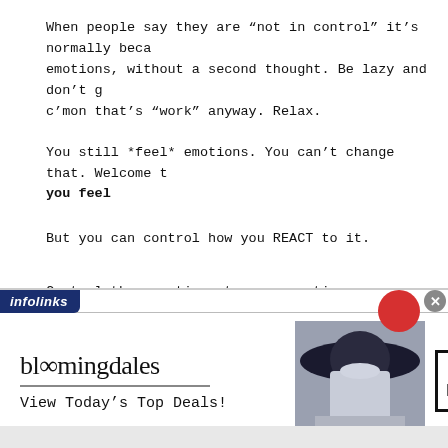When people say they are “not in control” it’s normally beca… emotions, without a second thought. Be lazy and don’t g… c’mon that’s “work” anyway. Relax.
You still *feel* emotions. You can’t change that. Welcome t… you feel
But you can control how you REACT to it.
Control the reactions to your emotions
Search your feelings and explore why you feel the way you d…
[Figure (screenshot): Bloomingdale’s advertisement banner with infolinks label, showing the Bloomingdale’s logo, ‘View Today’s Top Deals!’ tagline, a model in a wide-brim hat, and a SHOP NOW > button.]